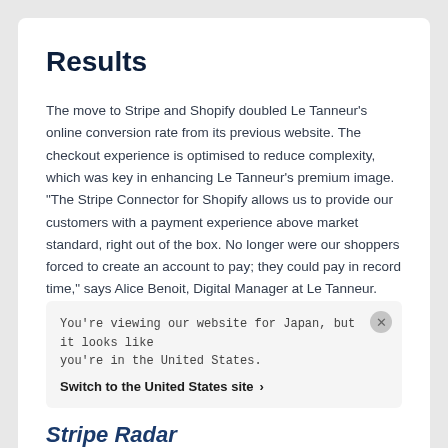Results
The move to Stripe and Shopify doubled Le Tanneur’s online conversion rate from its previous website. The checkout experience is optimised to reduce complexity, which was key in enhancing Le Tanneur’s premium image. “The Stripe Connector for Shopify allows us to provide our customers with a payment experience above market standard, right out of the box. No longer were our shoppers forced to create an account to pay; they could pay in record time,” says Alice Benoit, Digital Manager at Le Tanneur.
You’re viewing our website for Japan, but it looks like you’re in the United States.
Switch to the United States site ›
Stripe Radar